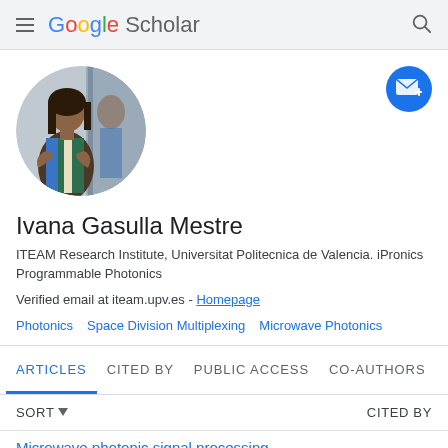Google Scholar
[Figure (photo): Circular profile photo of Ivana Gasulla Mestre, a woman with long dark hair, arms crossed, wearing a colorful dress, standing in front of a glass wall.]
Ivana Gasulla Mestre
ITEAM Research Institute, Universitat Politecnica de Valencia. iPronics Programmable Photonics
Verified email at iteam.upv.es - Homepage
Photonics
Space Division Multiplexing
Microwave Photonics
ARTICLES  CITED BY  PUBLIC ACCESS  CO-AUTHORS
SORT  CITED BY
Microwave photonic signal processing...